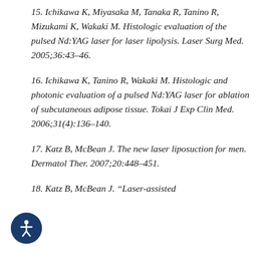15. Ichikawa K, Miyasaka M, Tanaka R, Tanino R, Mizukami K, Wakaki M. Histologic evaluation of the pulsed Nd:YAG laser for laser lipolysis. Laser Surg Med. 2005;36:43-46.
16. Ichikawa K, Tanino R, Wakaki M. Histologic and photonic evaluation of a pulsed Nd:YAG laser for ablation of subcutaneous adipose tissue. Tokai J Exp Clin Med. 2006;31(4):136-140.
17. Katz B, McBean J. The new laser liposuction for men. Dermatol Ther. 2007;20:448-451.
18. Katz B, McBean J. "Laser-assisted